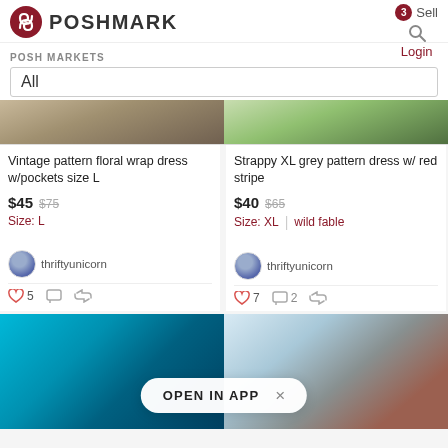POSHMARK
Sell
Login
POSH MARKETS
All
[Figure (photo): Partial top of a floral wrap dress listing photo]
Vintage pattern floral wrap dress w/pockets size L
$45  $75
Size: L
thriftyunicorn
♥ 5  💬  🔁
[Figure (photo): Partial top of a grey striped dress listing photo]
Strappy XL grey pattern dress w/ red stripe
$40  $65
Size: XL  wild fable
thriftyunicorn
♥ 7  💬 2  🔁
[Figure (photo): Teal/blue patterned clothing item]
[Figure (photo): Brown/red leather boot with zipper]
OPEN IN APP  ×